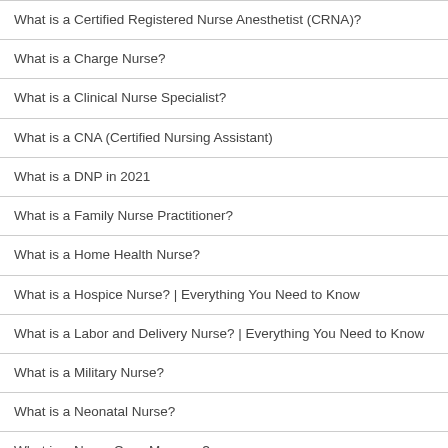What is a Certified Registered Nurse Anesthetist (CRNA)?
What is a Charge Nurse?
What is a Clinical Nurse Specialist?
What is a CNA (Certified Nursing Assistant)
What is a DNP in 2021
What is a Family Nurse Practitioner?
What is a Home Health Nurse?
What is a Hospice Nurse? | Everything You Need to Know
What is a Labor and Delivery Nurse? | Everything You Need to Know
What is a Military Nurse?
What is a Neonatal Nurse?
What is a Nurse Case Manager?